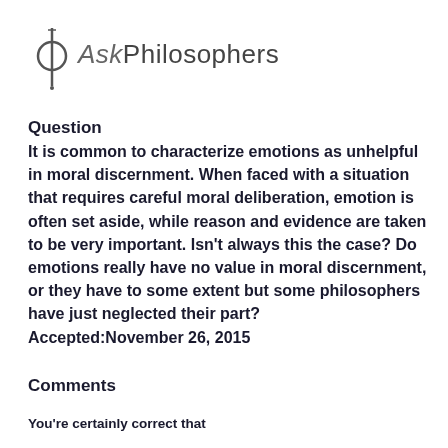[Figure (logo): AskPhilosophers logo with phi symbol and stylized text]
Question
It is common to characterize emotions as unhelpful in moral discernment. When faced with a situation that requires careful moral deliberation, emotion is often set aside, while reason and evidence are taken to be very important. Isn't always this the case? Do emotions really have no value in moral discernment, or they have to some extent but some philosophers have just neglected their part?
Accepted:November 26, 2015
Comments
You're certainly correct that